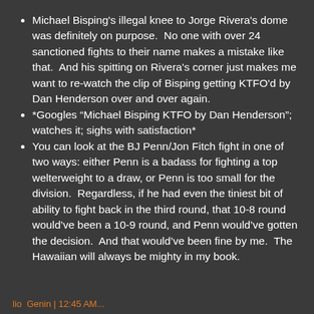Michael Bisping's illegal knee to Jorge Rivera's dome was definitely on purpose.  No one with over 24 sanctioned fights to their name makes a mistake like that.  And his spitting on Rivera's corner just makes me want to re-watch the clip of Bisping getting KTFO'd by Dan Henderson over and over again.
*Googles “Michael Bisping KTFO by Dan Henderson”; watches it; sighs with satisfaction*
You can look at the BJ Penn/Jon Fitch fight in one of two ways: either Penn is a badass for fighting a top welterweight to a draw, or Penn is too small for the division.  Regardless, if he had even the tiniest bit of ability to fight back in the third round, that 10-8 round would’ve been a 10-9 round, and Penn would’ve gotten the decision.  And that would’ve been fine by me.  The Hawaiian will always be mighty in my book.
lio  Genin | 12:45 AM...